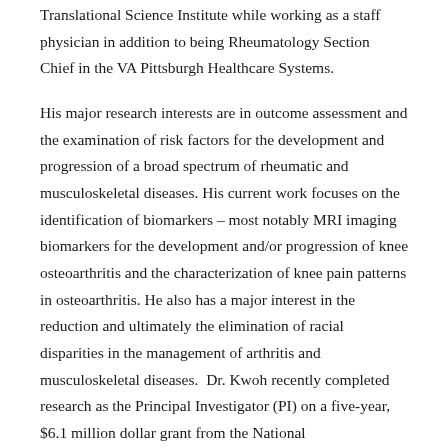Translational Science Institute while working as a staff physician in addition to being Rheumatology Section Chief in the VA Pittsburgh Healthcare Systems.
His major research interests are in outcome assessment and the examination of risk factors for the development and progression of a broad spectrum of rheumatic and musculoskeletal diseases. His current work focuses on the identification of biomarkers – most notably MRI imaging biomarkers for the development and/or progression of knee osteoarthritis and the characterization of knee pain patterns in osteoarthritis. He also has a major interest in the reduction and ultimately the elimination of racial disparities in the management of arthritis and musculoskeletal diseases. Dr. Kwoh recently completed research as the Principal Investigator (PI) on a five-year, $6.1 million dollar grant from the National